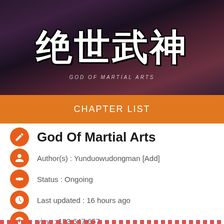[Figure (illustration): Manga/manhwa cover art with Chinese characters 绝世武神 (God of Martial Arts) in large white bold text with dark fantasy background. Subtitle GOD OF MARTIAL ARTS in small text below.]
CHAPTER LIST
God Of Martial Arts
Author(s) : Yunduowudongman [Add]
Status : Ongoing
Last updated : 16 hours ago
view : 133.647.657
Genre : Action, Adventure, Seinen
Bookmark